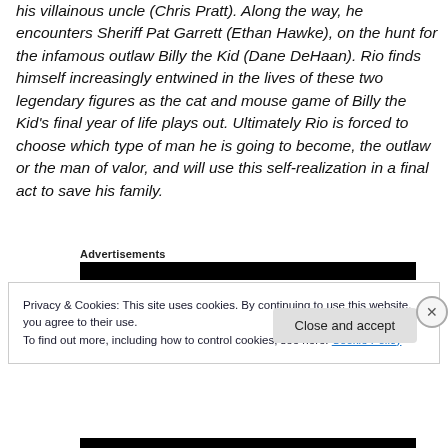his villainous uncle (Chris Pratt). Along the way, he encounters Sheriff Pat Garrett (Ethan Hawke), on the hunt for the infamous outlaw Billy the Kid (Dane DeHaan). Rio finds himself increasingly entwined in the lives of these two legendary figures as the cat and mouse game of Billy the Kid's final year of life plays out. Ultimately Rio is forced to choose which type of man he is going to become, the outlaw or the man of valor, and will use this self-realization in a final act to save his family.
Advertisements
[Figure (other): Black advertisement banner bar]
Privacy & Cookies: This site uses cookies. By continuing to use this website, you agree to their use.
To find out more, including how to control cookies, see here: Cookie Policy
Close and accept